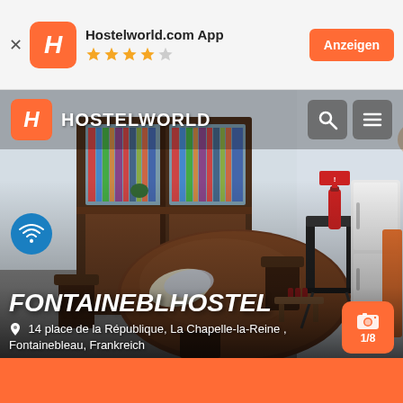[Figure (screenshot): Hostelworld.com app advertisement banner with H logo, 4 orange stars (1 grey), and Anzeigen button]
[Figure (photo): Interior of Fontaineblhostel showing a round wooden table with chairs, a large wooden bookcase, a keyboard on a stand, a refrigerator, and a fire extinguisher on the wall. Hostelworld navigation overlay at the top with search and menu icons.]
FONTAINEBLHOSTEL
14 place de la République, La Chapelle-la-Reine , Fontainebleau, Frankreich
[Figure (logo): Orange camera badge showing 1/8 photo count]